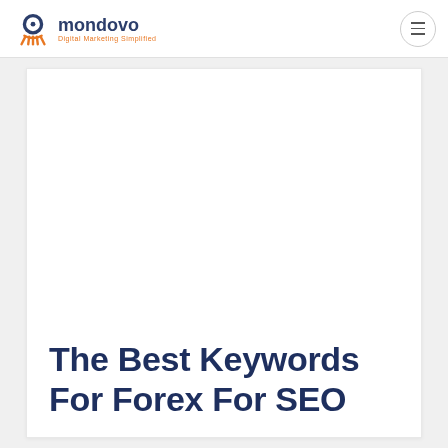mondovo — Digital Marketing Simplified
[Figure (other): Large white advertisement/image placeholder area inside a white card]
The Best Keywords For Forex For SEO